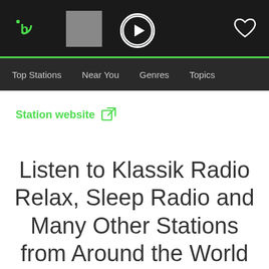radio.net app navigation bar with logo, album art placeholder, play button, and heart/favorites icon
Top Stations | Near You | Genres | Topics
Station website
Listen to Klassik Radio Relax, Sleep Radio and Many Other Stations from Around the World with the radio.net App